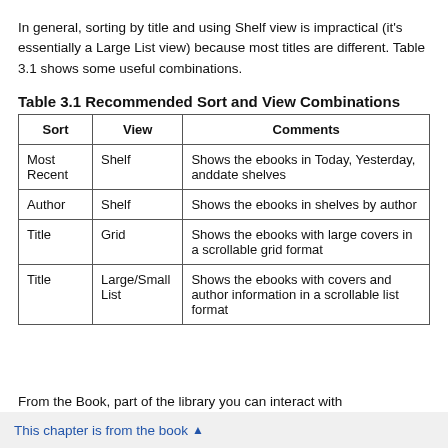In general, sorting by title and using Shelf view is impractical (it's essentially a Large List view) because most titles are different. Table 3.1 shows some useful combinations.
Table 3.1 Recommended Sort and View Combinations
| Sort | View | Comments |
| --- | --- | --- |
| Most Recent | Shelf | Shows the ebooks in Today, Yesterday, anddate shelves |
| Author | Shelf | Shows the ebooks in shelves by author |
| Title | Grid | Shows the ebooks with large covers in a scrollable grid format |
| Title | Large/Small List | Shows the ebooks with covers and author information in a scrollable list format |
This chapter is from the book